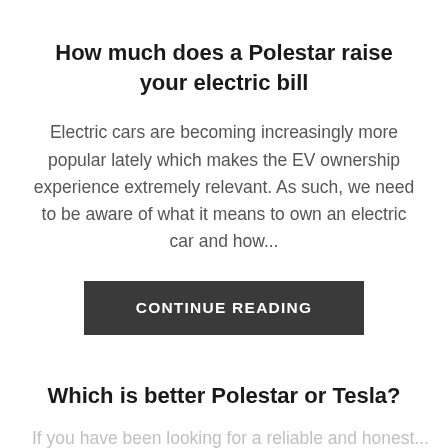How much does a Polestar raise your electric bill
Electric cars are becoming increasingly more popular lately which makes the EV ownership experience extremely relevant. As such, we need to be aware of what it means to own an electric car and how...
CONTINUE READING
Which is better Polestar or Tesla?
If you have been looking for a reliable and honest...